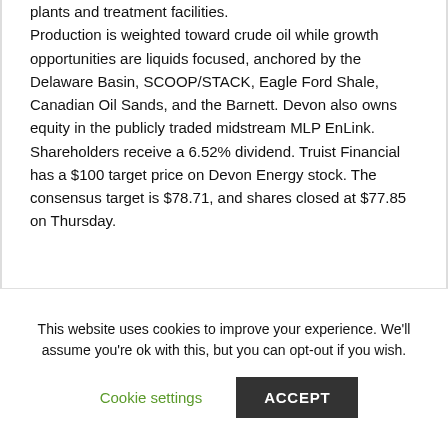plants and treatment facilities.
Production is weighted toward crude oil while growth opportunities are liquids focused, anchored by the Delaware Basin, SCOOP/STACK, Eagle Ford Shale, Canadian Oil Sands, and the Barnett. Devon also owns equity in the publicly traded midstream MLP EnLink.
Shareholders receive a 6.52% dividend. Truist Financial has a $100 target price on Devon Energy stock. The consensus target is $78.71, and shares closed at $77.85 on Thursday.
This website uses cookies to improve your experience. We'll assume you're ok with this, but you can opt-out if you wish.